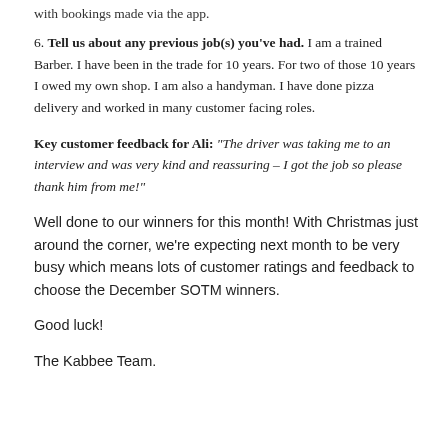with bookings made via the app.
6. Tell us about any previous job(s) you've had. I am a trained Barber. I have been in the trade for 10 years. For two of those 10 years I owed my own shop. I am also a handyman. I have done pizza delivery and worked in many customer facing roles.
Key customer feedback for Ali: “The driver was taking me to an interview and was very kind and reassuring – I got the job so please thank him from me!”
Well done to our winners for this month! With Christmas just around the corner, we’re expecting next month to be very busy which means lots of customer ratings and feedback to choose the December SOTM winners.
Good luck!
The Kabbee Team.